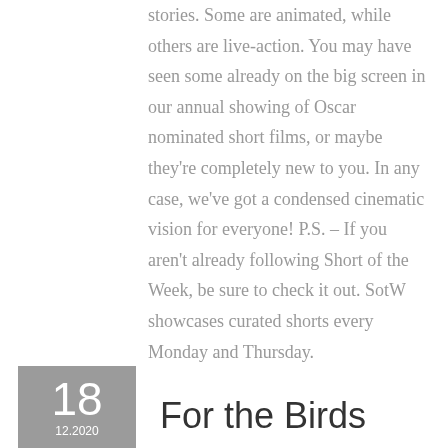stories. Some are animated, while others are live-action. You may have seen some already on the big screen in our annual showing of Oscar nominated short films, or maybe they're completely new to you. In any case, we've got a condensed cinematic vision for everyone! P.S. – If you aren't already following Short of the Week, be sure to check it out. SotW showcases curated shorts every Monday and Thursday.
For the Birds